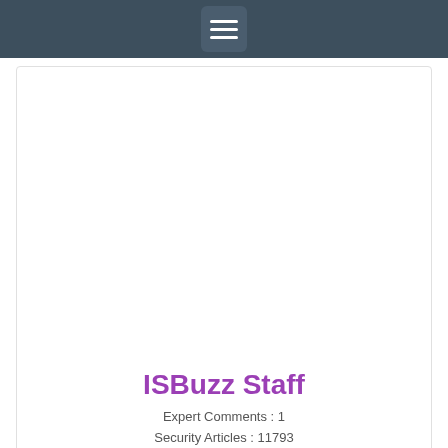≡
ISBuzz Staff
Expert Comments : 1
Security Articles : 11793